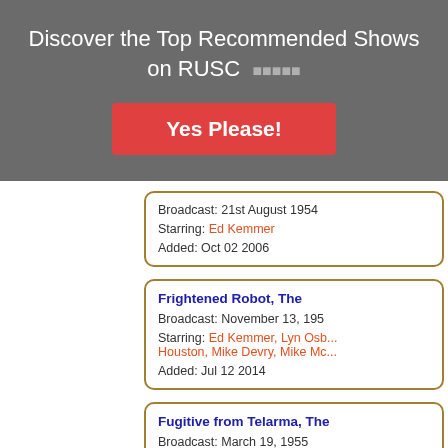Discover the Top Recommended Shows on RUSC  🟊🟊🟊🟊🟊
Yes Please!
Broadcast: 21st August 1954
Starring: Ed Kemmer
Added: Oct 02 2006
Frightened Robot, The
Broadcast: November 13, 195...
Starring: Ed Kemmer, Lyn Osb... Houston, Mike Devry, Mike Mc...
Added: Jul 12 2014
Fugitive from Telarma, The
Broadcast: March 19, 1955